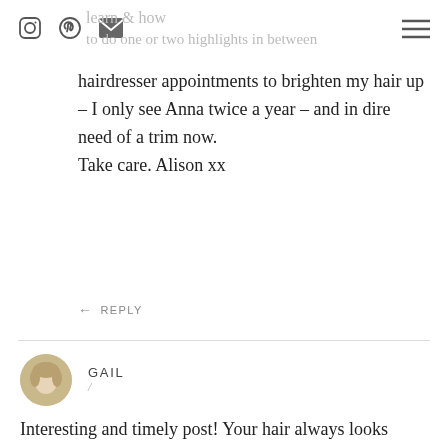learn & how to do one or two highlights in between
hairdresser appointments to brighten my hair up – I only see Anna twice a year – and in dire need of a trim now.
Take care. Alison xx
REPLY
GAIL
Interesting and timely post! Your hair always looks lovely. I have bought the Magic Retouch product but not sure it will work for me. My